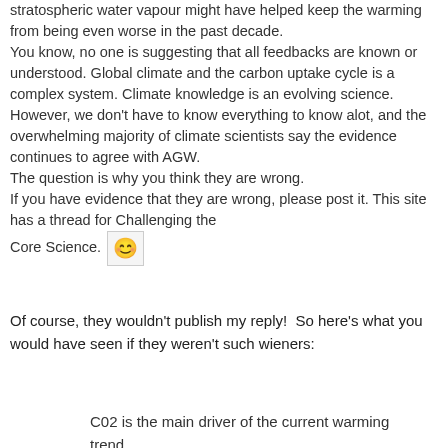stratospheric water vapour might have helped keep the warming from being even worse in the past decade.
You know, no one is suggesting that all feedbacks are known or understood. Global climate and the carbon uptake cycle is a complex system. Climate knowledge is an evolving science. However, we don't have to know everything to know alot, and the overwhelming majority of climate scientists say the evidence continues to agree with AGW.
The question is why you think they are wrong.
If you have evidence that they are wrong, please post it. This site has a thread for Challenging the Core Science. 🙂
Of course, they wouldn't publish my reply!  So here's what you would have seen if they weren't such wieners:
C02 is the main driver of the current warming trend